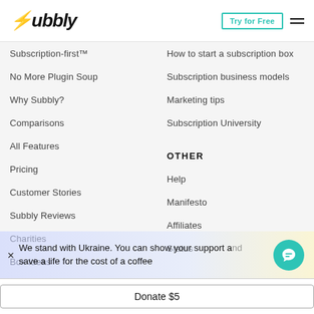Subbly — Try for Free
Subscription-first™
No More Plugin Soup
Why Subbly?
Comparisons
All Features
Pricing
Customer Stories
Subbly Reviews
Charities
Box Ideas
How to start a subscription box
Subscription business models
Marketing tips
Subscription University
OTHER
Help
Manifesto
Affiliates
Status
We stand with Ukraine. You can show your support and save a life for the cost of a coffee
Donate $5